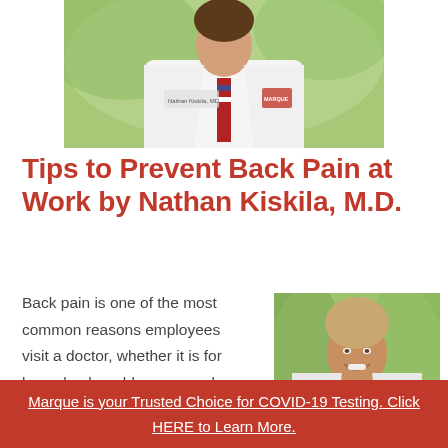[Figure (photo): Doctor in white lab coat with red, white and blue tie, partial upper body, outdoor background with green foliage]
Tips to Prevent Back Pain at Work by Nathan Kiskila, M.D.
Back pain is one of the most common reasons employees visit a doctor, whether it is for lower back problems or neck pain.  Over 90% of the population will hurt their back or
[Figure (photo): Dr. Nathan Kiskila, MD, smiling in white lab coat with striped tie, outdoor background with green foliage, Marque Medical logo on coat]
Marque is your Trusted Choice for COVID-19 Testing. Click HERE to Learn More.